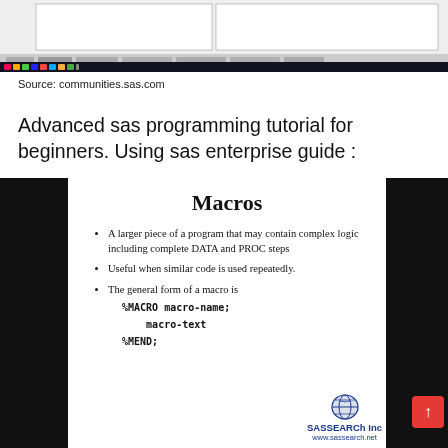[Figure (screenshot): Screenshot of a SAS Enterprise Guide or communities.sas.com interface showing a browser window with toolbar and taskbar.]
Source: communities.sas.com
Advanced sas programming tutorial for beginners. Using sas enterprise guide :
[Figure (screenshot): Slide about Macros in SAS programming. Title: Macros. Bullet points: A larger piece of a program that may contain complex logic including complete DATA and PROC steps; Useful when similar code is used repeatedly; The general form of a macro is — with code: %MACRO macro-name; macro-text %MEND; — SASSEARCh Inc logo and www.sassearch.net at bottom right.]